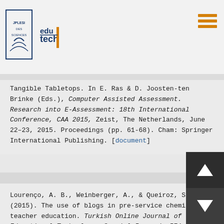JPLESI / edul tech logo and navigation header
Tangible Tabletops. In E. Ras & D. Joosten-ten Brinke (Eds.), Computer Assisted Assessment. Research into E-Assessment: 18th International Conference, CAA 2015, Zeist, The Netherlands, June 22–23, 2015. Proceedings (pp. 61-68). Cham: Springer International Publishing. [document]
Lourenço, A. B., Weinberger, A., & Queiroz, S. L. (2015). The use of blogs in pre-service chemistry teacher education. Turkish Online Journal of Educational Technology, Special Issue 1, 574-580. [document]
Lourenço, A. B., Weinberger, A., & Queiroz, S. L.